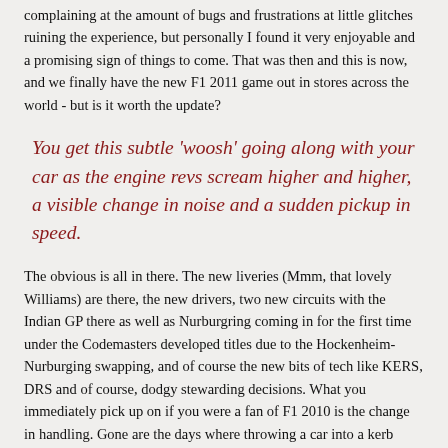complaining at the amount of bugs and frustrations at little glitches ruining the experience, but personally I found it very enjoyable and a promising sign of things to come. That was then and this is now, and we finally have the new F1 2011 game out in stores across the world - but is it worth the update?
You get this subtle 'woosh' going along with your car as the engine revs scream higher and higher, a visible change in noise and a sudden pickup in speed.
The obvious is all in there. The new liveries (Mmm, that lovely Williams) are there, the new drivers, two new circuits with the Indian GP there as well as Nurburgring coming in for the first time under the Codemasters developed titles due to the Hockenheim-Nurburging swapping, and of course the new bits of tech like KERS, DRS and of course, dodgy stewarding decisions. What you immediately pick up on if you were a fan of F1 2010 is the change in handling. Gone are the days where throwing a car into a kerb would automatically result in facing the wrong way and ruining the entire race and in come a much more responsive and drivable suspension model which lets the